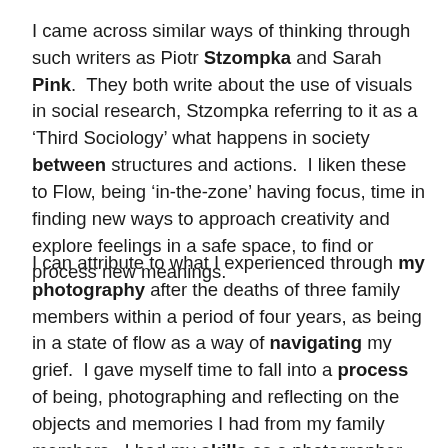I came across similar ways of thinking through such writers as Piotr Stzompka and Sarah Pink.  They both write about the use of visuals in social research, Stzompka referring to it as a ‘Third Sociology’ what happens in society between structures and actions.  I liken these to Flow, being ‘in-the-zone’ having focus, time in finding new ways to approach creativity and explore feelings in a safe space, to find or process new meanings.
I can attribute to what I experienced through my photography after the deaths of three family members within a period of four years, as being in a state of flow as a way of navigating my grief.  I gave myself time to fall into a process of being, photographing and reflecting on the objects and memories I had from my family members.  I had my skills as a photographer, someone who was [cut off] ... through flow